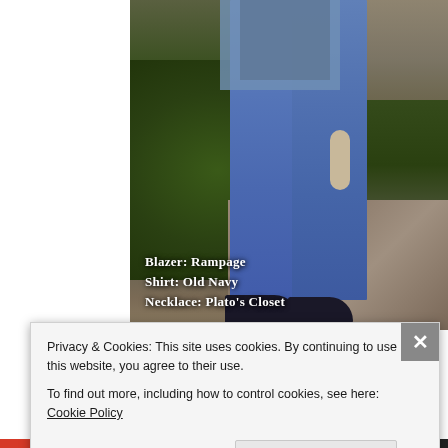[Figure (photo): Fashion blog photo showing lower body of a person wearing blue skinny jeans, a dark shirt, a light blue blazer, and dark flat shoes. Standing on a stone path next to a grassy lawn with a wooden fence in the background. Text overlay reads: Blazer: Rampage, Shirt: Old Navy, Necklace: Plato's Closet]
Blazer: Rampage
Shirt: Old Navy
Necklace: Plato's Closet
Privacy & Cookies: This site uses cookies. By continuing to use this website, you agree to their use.
To find out more, including how to control cookies, see here: Cookie Policy
Close and accept